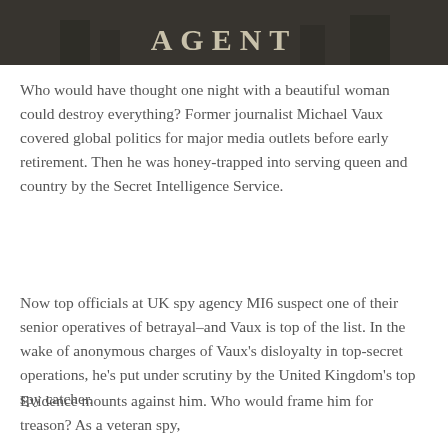[Figure (photo): Book cover image, dark background with large serif title text partially visible at the top of the page]
Who would have thought one night with a beautiful woman could destroy everything? Former journalist Michael Vaux covered global politics for major media outlets before early retirement. Then he was honey-trapped into serving queen and country by the Secret Intelligence Service.
Now top officials at UK spy agency MI6 suspect one of their senior operatives of betrayal–and Vaux is top of the list. In the wake of anonymous charges of Vaux's disloyalty in top-secret operations, he's put under scrutiny by the United Kingdom's top spy catcher.
Evidence mounts against him. Who would frame him for treason? As a veteran spy,